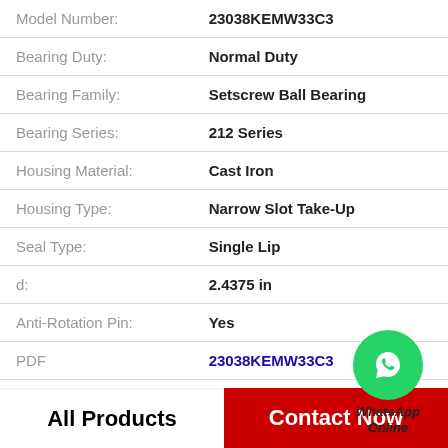| Label | Value |
| --- | --- |
| Model Number: | 23038KEMW33C3 |
| Bearing Duty: | Normal Duty |
| Bearing Family: | Setscrew Ball Bearing |
| Bearing Series: | 212 Series |
| Housing Material: | Cast Iron |
| Housing Type: | Narrow Slot Take-Up |
| Seal Type: | Single Lip |
| d: | 2.4375 in |
| Anti-Rotation Pin: | Yes |
| PDF | 23038KEMW33C3 |
[Figure (logo): WhatsApp Online contact badge with green phone icon circle]
All Products   Contact Now